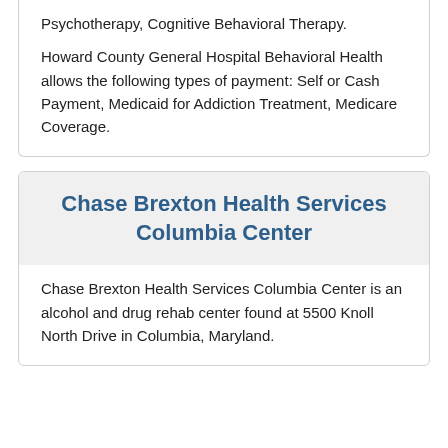Psychotherapy, Cognitive Behavioral Therapy.
Howard County General Hospital Behavioral Health allows the following types of payment: Self or Cash Payment, Medicaid for Addiction Treatment, Medicare Coverage.
Chase Brexton Health Services Columbia Center
Chase Brexton Health Services Columbia Center is an alcohol and drug rehab center found at 5500 Knoll North Drive in Columbia, Maryland.